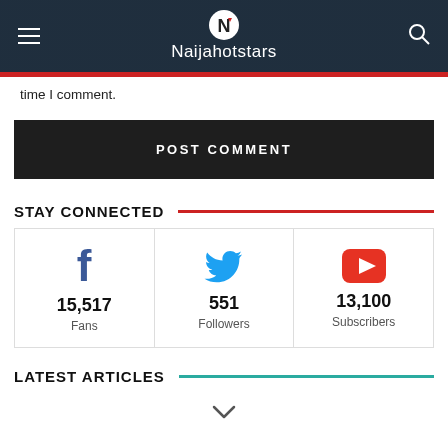Naijahotstars
time I comment.
POST COMMENT
STAY CONNECTED
[Figure (infographic): Three social media stat cards: Facebook 15,517 Fans, Twitter 551 Followers, YouTube 13,100 Subscribers]
LATEST ARTICLES